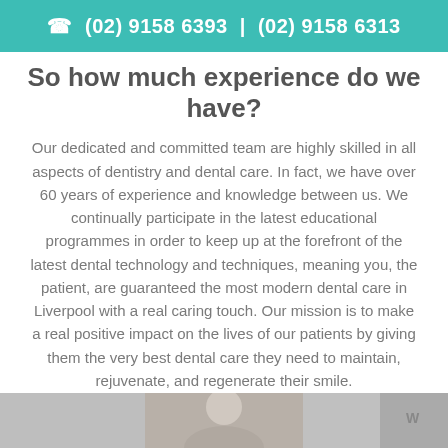(02) 9158 6393 | (02) 9158 6313
So how much experience do we have?
Our dedicated and committed team are highly skilled in all aspects of dentistry and dental care. In fact, we have over 60 years of experience and knowledge between us. We continually participate in the latest educational programmes in order to keep up at the forefront of the latest dental technology and techniques, meaning you, the patient, are guaranteed the most modern dental care in Liverpool with a real caring touch. Our mission is to make a real positive impact on the lives of our patients by giving them the very best dental care they need to maintain, rejuvenate, and regenerate their smile.
[Figure (photo): Photo strip showing dental staff members at the bottom of the page]